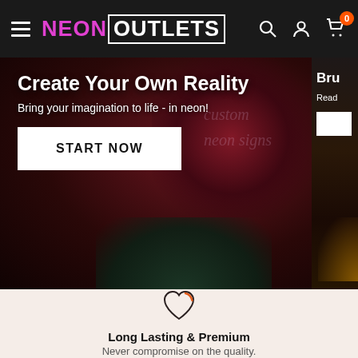NEON OUTLETS — Navigation header with hamburger menu, logo, search, account, and cart icons
[Figure (screenshot): Hero banner showing 'Create Your Own Reality' with text 'Bring your imagination to life - in neon!' and a START NOW button, dark background with flowers and green chairs, partially showing a second panel clipped on right]
Long Lasting & Premium
Never compromise on the quality.